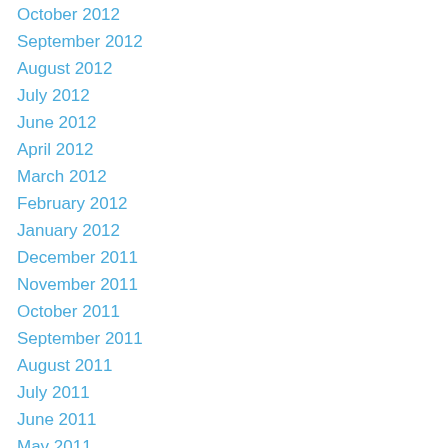October 2012
September 2012
August 2012
July 2012
June 2012
April 2012
March 2012
February 2012
January 2012
December 2011
November 2011
October 2011
September 2011
August 2011
July 2011
June 2011
May 2011
April 2011
March 2011
February 2011